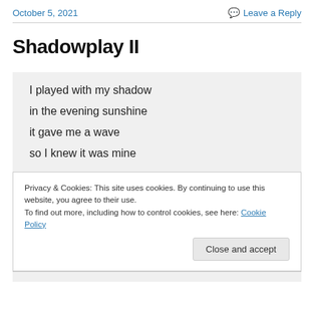October 5, 2021
Leave a Reply
Shadowplay II
I played with my shadow
in the evening sunshine
it gave me a wave
so I knew it was mine
Privacy & Cookies: This site uses cookies. By continuing to use this website, you agree to their use.
To find out more, including how to control cookies, see here: Cookie Policy
Close and accept